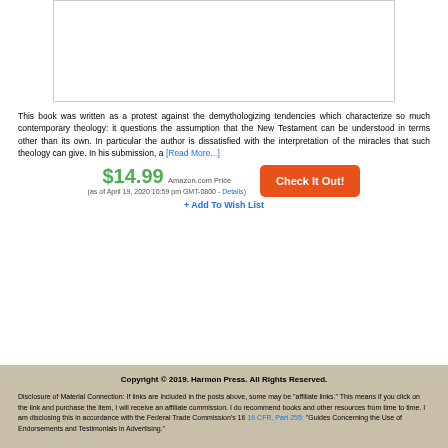[Figure (other): Book cover image placeholder (white box with border)]
This book was written as a protest against the demythologizing tendencies which characterize so much contemporary theology: it questions the assumption that the New Testament can be understood in terms other than its own. In particular the author is dissatisfied with the interpretation of the miracles that such theology can give. In his submission, a [Read More...]
$14.99 Amazon.com Price (as of April 19, 2020 10:59 pm GMT-0800 - Details)
+ Add To Wish List
Copyright © 2019. Harmon Press. All Rights Reserved. Disclosure of Material Connection: If links are included in the posts above, some may be "affiliate links." This means if you click on the link and purchase the item, I will receive an affiliate commission. I do recommend books and other resources from time to time. I am disclosing this in accordance with the Federal Trade Commission's 16 CFR, Part 255: "Guides Concerning the Use of Endorsements and Testimonials in Advertising."